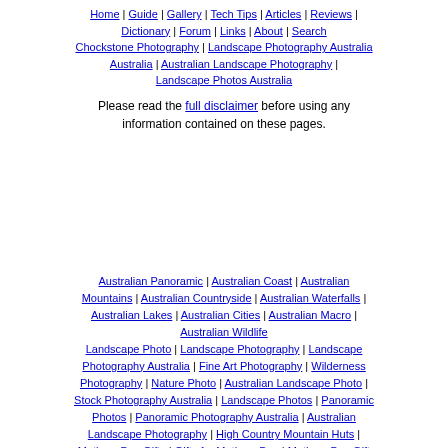Home | Guide | Gallery | Tech Tips | Articles | Reviews | Dictionary | Forum | Links | About | Search Chockstone Photography | Landscape Photography Australia | Australian Landscape Photography | Landscape Photos Australia
Please read the full disclaimer before using any information contained on these pages.
Australian Panoramic | Australian Coast | Australian Mountains | Australian Countryside | Australian Waterfalls | Australian Lakes | Australian Cities | Australian Macro | Australian Wildlife Landscape Photo | Landscape Photography | Landscape Photography Australia | Fine Art Photography | Wilderness Photography | Nature Photo | Australian Landscape Photo | Stock Photography Australia | Landscape Photos | Panoramic Photos | Panoramic Photography Australia | Australian Landscape Photography | High Country Mountain Huts | Mothers Day Gifts | Gifts for Mothers Day | Mothers Day Gift Ideas | Ideas for Mothers Day | Wedding Gift Ideas | Christmas Gift Ideas | Fathers Day Gifts | Gifts for Fathers Day | Fathers Day Gift Ideas | Ideas for Fathers Day | Landscape Prints | Landscape Poster | Limited Edition Prints | Panoramic Photo | Buy Posters | Poster Prints